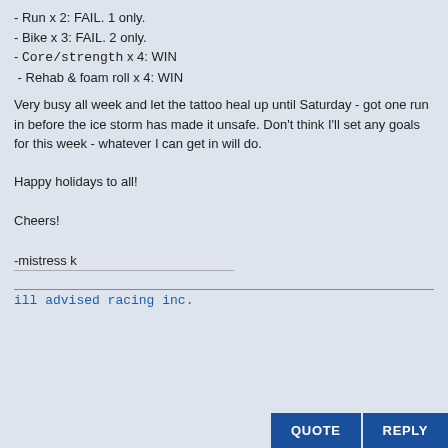- Run x 2: FAIL. 1 only.
- Bike x 3: FAIL. 2 only.
- Core/strength x 4: WIN
- Rehab & foam roll x 4: WIN
Very busy all week and let the tattoo heal up until Saturday - got one run in before the ice storm has made it unsafe. Don't think I'll set any goals for this week - whatever I can get in will do.
Happy holidays to all!
Cheers!
-mistress k
ill advised racing inc.